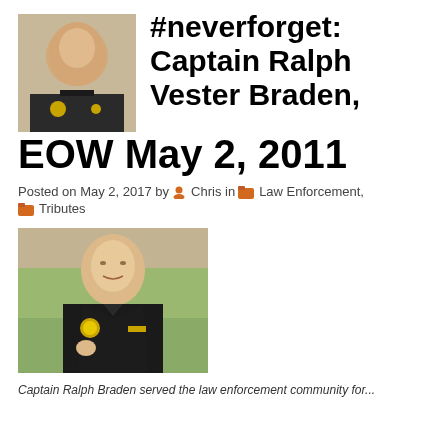[Figure (photo): Small portrait photo of Captain Ralph Vester Braden in police uniform, top-left of header area]
#neverforget: Captain Ralph Vester Braden, EOW May 2, 2011
Posted on May 2, 2017 by Chris in Law Enforcement, Tributes
[Figure (photo): Larger portrait photo of Captain Ralph Vester Braden in police uniform]
Captain Ralph Braden served the law enforcement community for...